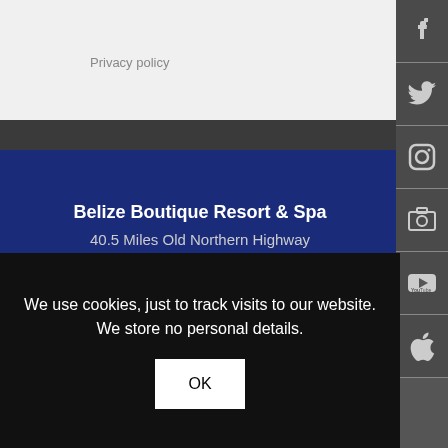Privacy policy
Belize Boutique Resort & Spa
40.5 Miles Old Northern Highway
Maskall Village, Belize, Central America
30 Miles North of Belize International Airport
10 Miles North of Altun Ha Mayan Ruins Site
Google Map - Get Directions
[Figure (infographic): Social media sidebar with Facebook, Twitter, Instagram, camera/photo, YouTube, and Apple icons on dark grey background]
We use cookies, just to track visits to our website. We store no personal details.
OK